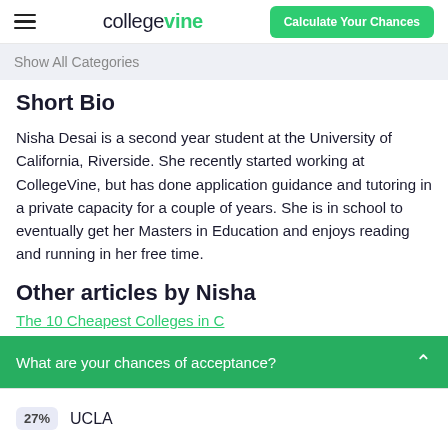collegevine | Calculate Your Chances
Show All Categories
Short Bio
Nisha Desai is a second year student at the University of California, Riverside. She recently started working at CollegeVine, but has done application guidance and tutoring in a private capacity for a couple of years. She is in school to eventually get her Masters in Education and enjoys reading and running in her free time.
Other articles by Nisha
The 10 Cheapest Colleges in C...
What are your chances of acceptance?
27% UCLA